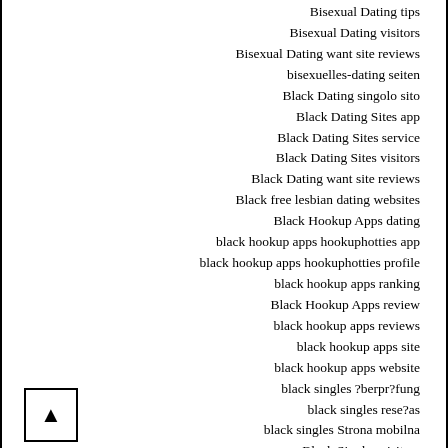Bisexual Dating tips
Bisexual Dating visitors
Bisexual Dating want site reviews
bisexuelles-dating seiten
Black Dating singolo sito
Black Dating Sites app
Black Dating Sites service
Black Dating Sites visitors
Black Dating want site reviews
Black free lesbian dating websites
Black Hookup Apps dating
black hookup apps hookuphotties app
black hookup apps hookuphotties profile
black hookup apps ranking
Black Hookup Apps review
black hookup apps reviews
black hookup apps site
black hookup apps website
black singles ?berpr?fung
black singles rese?as
black singles Strona mobilna
Black Singles visitors
Black White Singles useful content
black-dating-cs Mobile
black-dating-nl beoordelingen
black-dating-nl BRAND1-app
BlackandWhiteSingles useful content